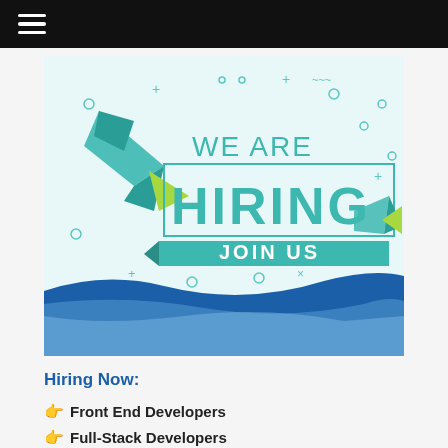[Figure (illustration): We Are Hiring — Join Us recruitment banner with paper plane origami decorations, teal and green geometric shapes, decorative plus/circle/cross symbols, and blue wave design at the bottom.]
Hiring Now:
Front End Developers
Full-Stack Developers